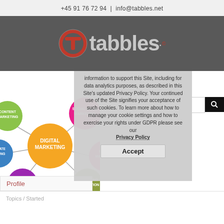+45 91 76 72 94  |  info@tabbles.net
[Figure (logo): Tabbles logo: red circle with white T icon, followed by 'tabbles.' in grey text with copyright symbol]
information to support this Site, including for data analytics purposes, as described in this Site's updated Privacy Policy. Your continued use of the Site signifies your acceptance of such cookies. To learn more about how to manage your cookie settings and how to exercise your rights under GDPR please see our Privacy Policy
[Figure (infographic): Digital marketing mind map with central orange 'Digital Marketing' node surrounded by colored circles: Content Marketing (green), Social Media Marketing (pink), Affiliate Marketing (blue), Email Marketing (pink), Inbound Marketing (purple), Marketing Automation (olive)]
Accept
Profile